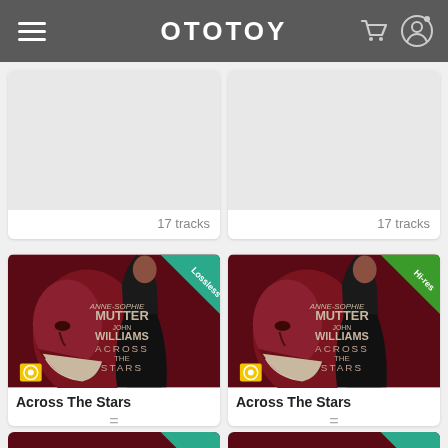OTOTOY
17 tracks
17 tracks
[Figure (photo): Album art for Across The Stars by Anne-Sophie Mutter and John Williams, Deutsche Grammophon, with Lossless badge]
Across The Stars
=
12 tracks
[Figure (photo): Album art for Across The Stars by Anne-Sophie Mutter and John Williams, Deutsche Grammophon, with Hi-res badge]
Across The Stars
=
12 tracks